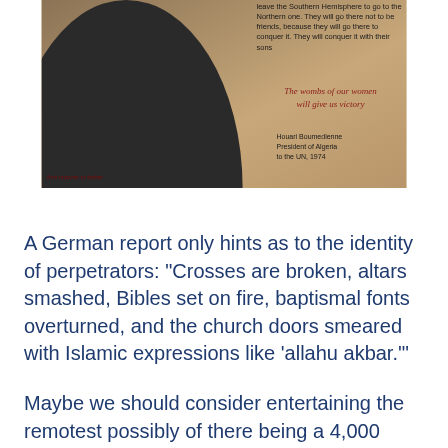[Figure (photo): Photo of a pregnant woman in a black hijab holding her belly, with text overlay quoting Houari Boumedienne, President of Algeria to the UN, 1974: 'One day millions of Muslims will leave the Southern Hemisphere to go to the Northern one. They will go there not to be friends, because they will go there to conquer it. They will conquer it with their sons' and italic quote 'The wombs of our women will give us victory']
A German report only hints as to the identity of perpetrators: "Crosses are broken, altars smashed, Bibles set on fire, baptismal fonts overturned, and the church doors smeared with Islamic expressions like 'allahu akbar.'"
Maybe we should consider entertaining the remotest possibly of there being a 4,000 pound halal elephant in the room